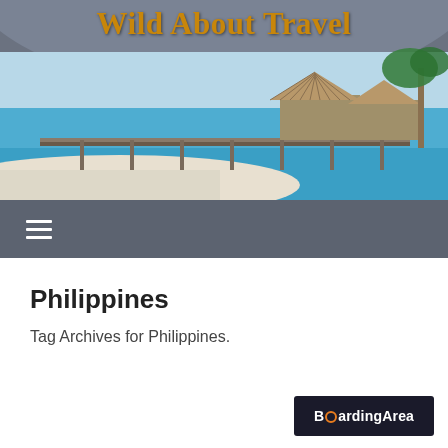Wild About Travel
[Figure (photo): Tropical beach scene with overwater bungalows on a pier extending into turquoise water, with palm trees and decorative travel photo collage (airplane photo, sunset photo, lighthouse photo, postage stamp)]
[Figure (other): Hamburger menu icon (three horizontal white lines) on dark gray navigation bar]
Philippines
Tag Archives for Philippines.
[Figure (logo): BoardingArea logo — white bold text on dark navy background]